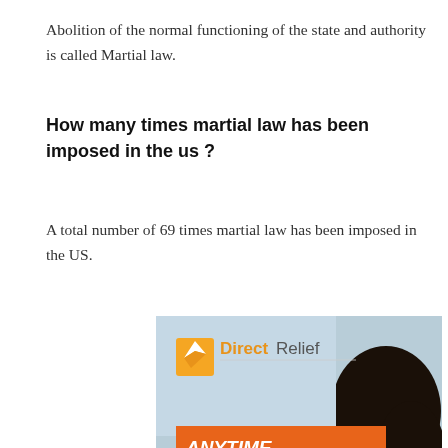Abolition of the normal functioning of the state and authority is called Martial law.
How many times martial law has been imposed in the us ?
A total number of 69 times martial law has been imposed in the US.
[Figure (photo): Direct Relief advertisement banner showing a woman looking at a disaster scene with text 'ANYTIME. ANYWHERE. ANYONE IN NEED.' on an orange background, and below it an Amazon forest protection ad.]